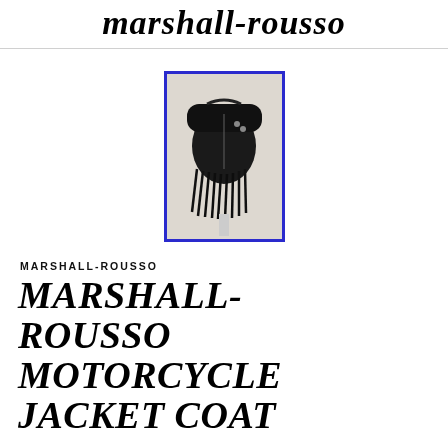marshall-rousso
[Figure (photo): A black motorcycle jacket/coat with fringe on a mannequin, displayed against a light background, framed with a blue border.]
MARSHALL-ROUSSO
MARSHALL-ROUSSO MOTORCYCLE JACKET COAT